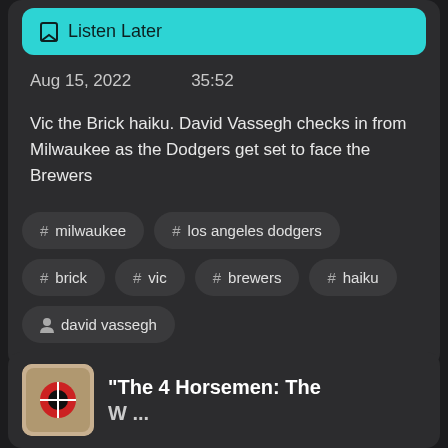[Figure (screenshot): Listen Later button in teal/cyan color with bookmark icon]
Aug 15, 2022   35:52
Vic the Brick haiku. David Vassegh checks in from Milwaukee as the Dodgers get set to face the Brewers
# milwaukee
# los angeles dodgers
# brick
# vic
# brewers
# haiku
person david vassegh
“The 4 Horsemen: The